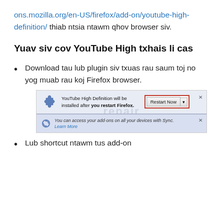ons.mozilla.org/en-US/firefox/add-on/youtube-high-definition/ thiab ntsia ntawm qhov browser siv.
Yuav siv cov YouTube High txhais li cas
Download tau lub plugin siv txuas rau saum toj no yog muab rau koj Firefox browser.
[Figure (screenshot): Firefox browser notification bar showing 'YouTube High Definition will be installed after you restart Firefox.' with a Restart Now button highlighted in red border, and a sync notification below.]
Lub shortcut ntawm tus add-on